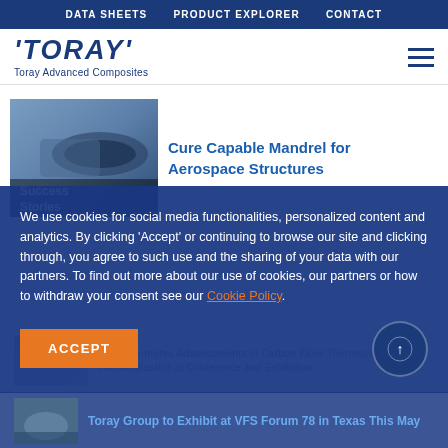DATA SHEETS   PRODUCT EXPLORER   CONTACT
[Figure (logo): Toray Advanced Composites logo with italic TORAY wordmark in navy blue and tagline 'Toray Advanced Composites']
[Figure (photo): Success Stories photo showing aerospace composite manufacturing process]
Cure Capable Mandrel for Aerospace Structures
We use cookies for social media functionalities, personalized content and analytics. By clicking 'Accept' or continuing to browse our site and clicking through, you agree to such use and the sharing of your data with our partners. To find out more about our use of cookies, our partners or how to withdraw your consent see our Cookie Policy.
ACCEPT
Toray Group to Exhibit at VFS Forum 78 in Texas This May